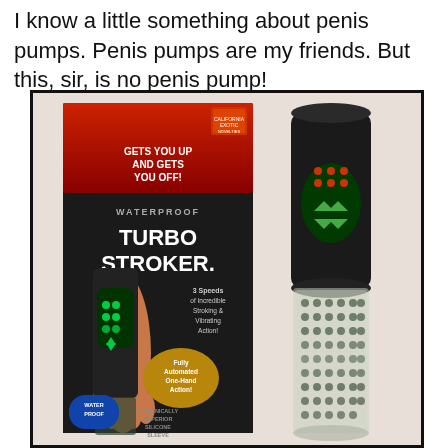I know a little something about penis pumps. Penis pumps are my friends. But this, sir, is no penis pump!
[Figure (photo): Product photo of the Waterproof Turbo Stroker adult toy, shown with its retail box on the left and the device itself on the right. The box is black with red gradient at top, featuring text 'GETS YOU YOU UP AND GETS YOU OFF!', 'WATERPROOF', 'TURBO STROKER', '3 Speeds of Incredible Stroking & Vibrating Action!', 'Fully Automated One-Hand Action!', 'WATER PROOF', 'HYGIENICALLY SUPERIOR SILICONE SLEEVE'. The device is a black cylindrical motorized stroker with a clear textured lower section.]